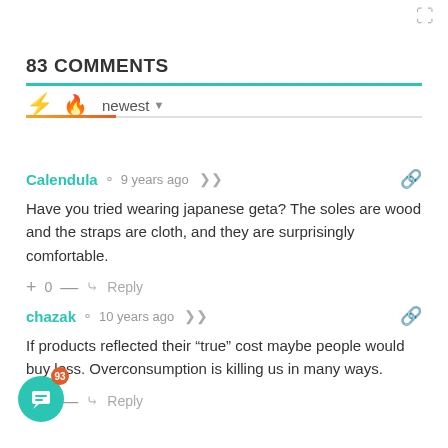83 COMMENTS
Calendula  9 years ago
Have you tried wearing japanese geta? The soles are wood and the straps are cloth, and they are surprisingly comfortable.
+ 0 — Reply
chazak  10 years ago
If products reflected their “true” cost maybe people would buy less. Overconsumption is killing us in many ways.
+ 0 — Reply